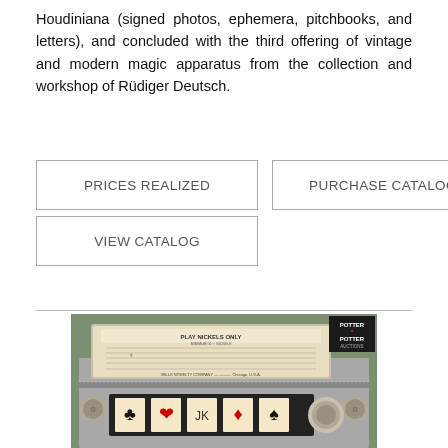Houdiniana (signed photos, ephemera, pitchbooks, and letters), and concluded with the third offering of vintage and modern magic apparatus from the collection and workshop of Rüdiger Deutsch.
PRICES REALIZED
PURCHASE CATALOG
VIEW CATALOG
[Figure (photo): Photo of a vintage slot machine front panel showing playing cards and a 'PLAY NICKELS ONLY' sign, with Potter & Potter Auctions logo in top right corner. The machine appears to be a Mills Novelty Company slot machine from Chicago, USA.]